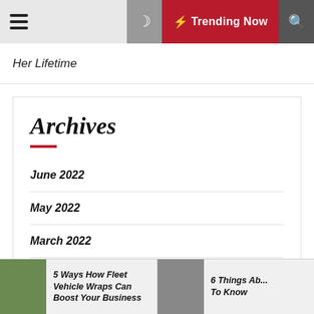Trending Now
Her Lifetime
Archives
June 2022
May 2022
March 2022
January 2022
July 2021
5 Ways How Fleet Vehicle Wraps Can Boost Your Business | 6 Things Ab... To Know